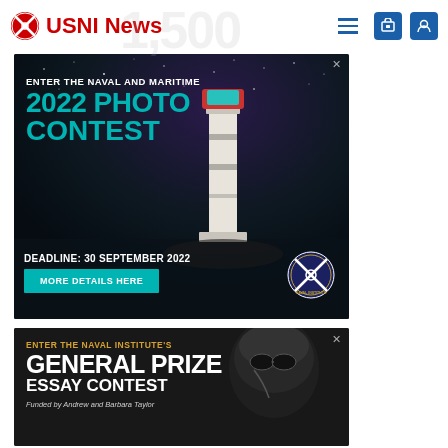USNI News
[Figure (photo): USNI News Naval and Maritime 2022 Photo Contest advertisement. Shows a lighthouse at night with starry sky. Text: ENTER THE NAVAL AND MARITIME, 2022 PHOTO CONTEST, DEADLINE: 30 SEPTEMBER 2022, MORE DETAILS HERE. USNI seal logo in bottom right.]
[Figure (photo): USNI Naval Institute General Prize Essay Contest advertisement. Shows a soldier in dark tones. Text: ENTER THE NAVAL INSTITUTE'S, GENERAL PRIZE, ESSAY CONTEST, Funded by Andrew and Barbara Taylor.]